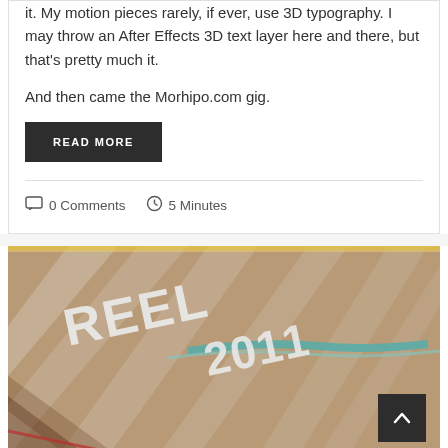it. My motion pieces rarely, if ever, use 3D typography. I may throw an After Effects 3D text layer here and there, but that's pretty much it.
And then came the Morhipo.com gig.
READ MORE
0 Comments   5 Minutes
[Figure (photo): Photo showing 3D text reading 'REEL 2011' on a diagonal striped background with film reel imagery, warm vintage tones.]